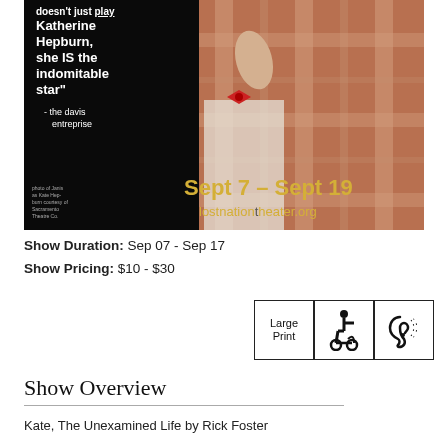[Figure (photo): Theater poster showing a person in a plaid jacket with a red bow tie against a black background. White text reads: "doesn't just play Katherine Hepburn, she IS the indomitable star" - the davis entreprise. Gold text at bottom reads: Sept 7 – Sept 19, lostnationtheater.org. Small text in bottom left credits the photo.]
Show Duration: Sep 07 - Sep 17
Show Pricing: $10 - $30
[Figure (infographic): Three accessibility icons: Large Print box, wheelchair accessibility symbol, and assistive listening device symbol.]
Show Overview
Kate, The Unexamined Life by Rick Foster